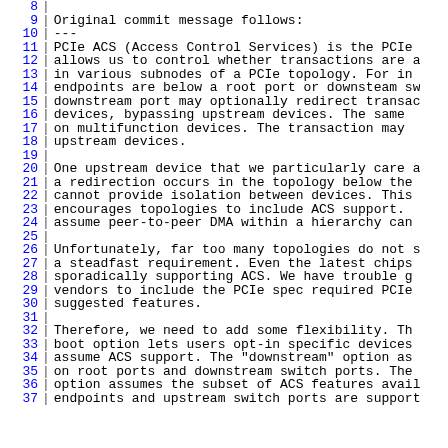Line 8: (blank)
Line 9: Original commit message follows:
Line 10: ---
Line 11: PCIe ACS (Access Control Services) is the PCIe
Line 12: allows us to control whether transactions are a
Line 13: in various subnodes of a PCIe topology.  For in
Line 14: endpoints are below a root port or downsteam sw
Line 15: downstream port may optionally redirect transac
Line 16: devices, bypassing upstream devices.  The same
Line 17: on multifunction devices.  The transaction may
Line 18: upstream devices.
Line 19: (blank)
Line 20: One upstream device that we particularly care a
Line 21: a redirection occurs in the topology below the
Line 22: cannot provide isolation between devices.  This
Line 23: encourages topologies to include ACS support.
Line 24: assume peer-to-peer DMA within a hierarchy can
Line 25: (blank)
Line 26: Unfortunately, far too many topologies do not s
Line 27: a steadfast requirement.  Even the latest chips
Line 28: sporadically supporting ACS.  We have trouble g
Line 29: vendors to include the PCIe spec required PCIe
Line 30: suggested features.
Line 31: (blank)
Line 32: Therefore, we need to add some flexibility.  Th
Line 33: boot option lets users opt-in specific devices
Line 34: assume ACS support.  The "downstream" option as
Line 35: on root ports and downstream switch ports.  The
Line 36: option assumes the subset of ACS features avail
Line 37: endpoints and upstream switch ports are support